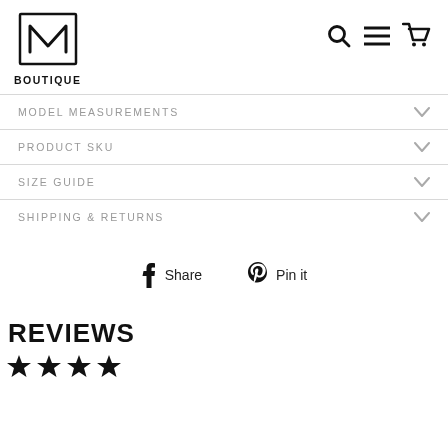[Figure (logo): M Boutique logo — stylized letter M inside a rectangle frame, with 'BOUTIQUE' text below]
[Figure (infographic): Navigation icons: search (magnifying glass), menu (hamburger lines), cart (shopping cart)]
MODEL MEASUREMENTS
PRODUCT SKU
SIZE GUIDE
SHIPPING & RETURNS
Share
Pin it
REVIEWS
[Figure (other): Four filled star rating icons]